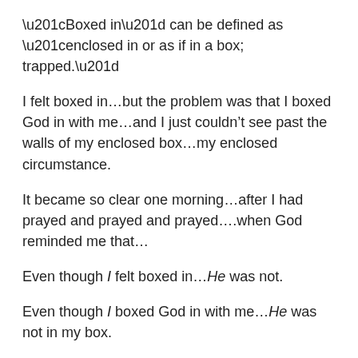“Boxed in” can be defined as “enclosed in or as if in a box; trapped.”
I felt boxed in…but the problem was that I boxed God in with me…and I just couldn’t see past the walls of my enclosed box…my enclosed circumstance.
It became so clear one morning…after I had prayed and prayed and prayed….when God reminded me that…
Even though I felt boxed in…He was not.
Even though I boxed God in with me…He was not in my box.
Even though I was limited by the six walls of my box…He was not limited…by ANYTHING!!
Even though I was feeling “There is no way!”…He was…